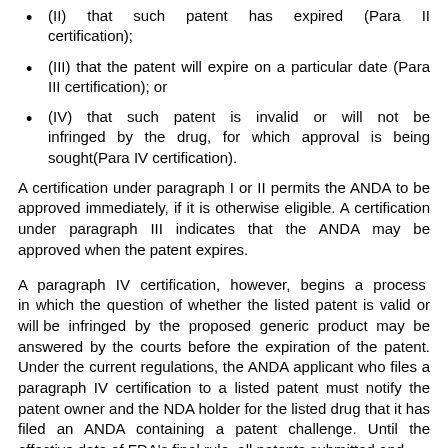(II) that such patent has expired (Para II certification);
(III) that the patent will expire on a particular date (Para III certification); or
(IV) that such patent is invalid or will not be infringed by the drug, for which approval is being sought(Para IV certification).
A certification under paragraph I or II permits the ANDA to be approved immediately, if it is otherwise eligible. A certification under paragraph III indicates that the ANDA may be approved when the patent expires.
A paragraph IV certification, however, begins a process in which the question of whether the listed patent is valid or will be infringed by the proposed generic product may be answered by the courts before the expiration of the patent. Under the current regulations, the ANDA applicant who files a paragraph IV certification to a listed patent must notify the patent owner and the NDA holder for the listed drug that it has filed an ANDA containing a patent challenge. Until the effective date of FDA's final rule, all patents submitted and